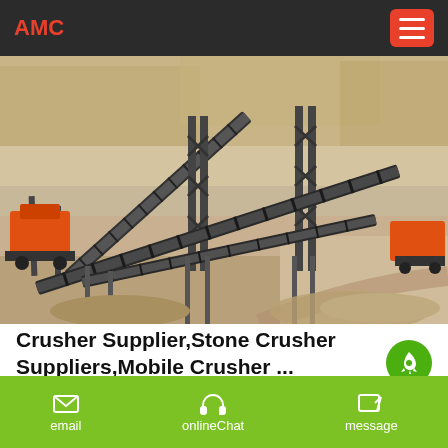AMC
[Figure (photo): Aerial view of a stone crusher plant with conveyor belts and industrial crushing machinery at a quarry site. Orange and black equipment with multiple inclined belt conveyors visible.]
Crusher Supplier,Stone Crusher Suppliers,Mobile Crusher ...
Professional Crusher Manufacturer & Crusher Supplier - ZhengZhou Machinery Co.,Ltd. It is a famous crusher supplier and
email   onlineChat   message